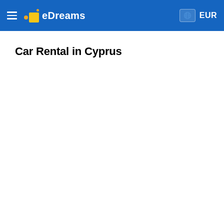eDreams — EUR
Car Rental in Cyprus